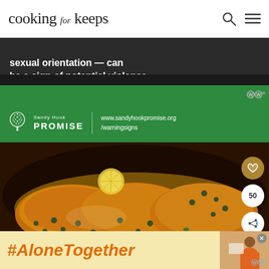cooking for keeps
[Figure (other): Sandy Hook Promise advertisement banner. Dark background top section with white text reading: 'sexual orientation — can be a sign of potential violence.' Green bottom section with Sandy Hook Promise tree logo, text 'Sandy Hook PROMISE', and URL 'www.sandyhookpromise.org/warningsigns']
[Figure (photo): Overhead close-up photo of several golden-brown seared chicken breasts in a dark skillet, garnished with capers, herbs, and lemon slices in a buttery sauce. Social action buttons visible on right side: heart/favorite button, count showing 50, and share button.]
[Figure (other): Yellow advertisement banner at bottom with orange italic bold text '#AloneTogether' and a thumbnail image of a woman in an orange outfit, with a close button X.]